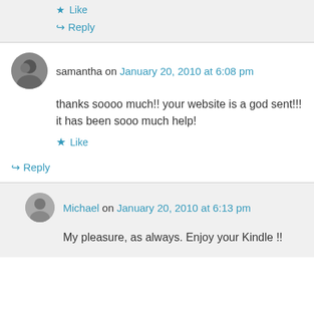★ Like
↪ Reply
samantha on January 20, 2010 at 6:08 pm
thanks soooo much!! your website is a god sent!!! it has been sooo much help!
★ Like
↪ Reply
Michael on January 20, 2010 at 6:13 pm
My pleasure, as always. Enjoy your Kindle !!